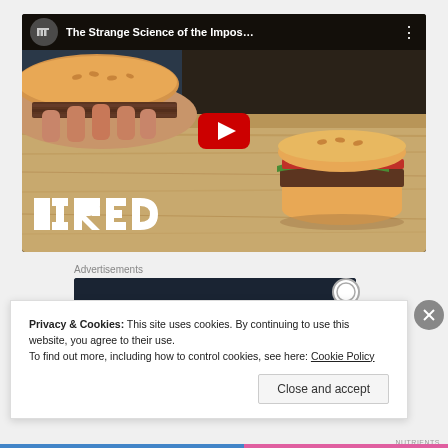[Figure (screenshot): YouTube video embed showing 'The Strange Science of the Impos...' with WIRED logo, featuring hands holding a burger and a sliced burger on a cutting board, with a red YouTube play button overlay]
Advertisements
[Figure (screenshot): Dark navy advertisement banner with a small circle icon]
Privacy & Cookies: This site uses cookies. By continuing to use this website, you agree to their use.
To find out more, including how to control cookies, see here: Cookie Policy
Close and accept